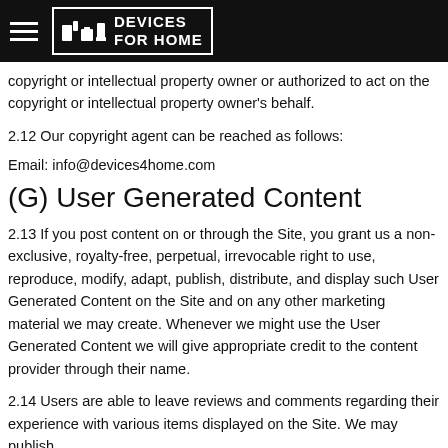Devices For Home
copyright or intellectual property owner or authorized to act on the copyright or intellectual property owner's behalf.
2.12 Our copyright agent can be reached as follows:
Email: info@devices4home.com
(G) User Generated Content
2.13 If you post content on or through the Site, you grant us a non-exclusive, royalty-free, perpetual, irrevocable right to use, reproduce, modify, adapt, publish, distribute, and display such User Generated Content on the Site and on any other marketing material we may create. Whenever we might use the User Generated Content we will give appropriate credit to the content provider through their name.
2.14 Users are able to leave reviews and comments regarding their experience with various items displayed on the Site. We may publish